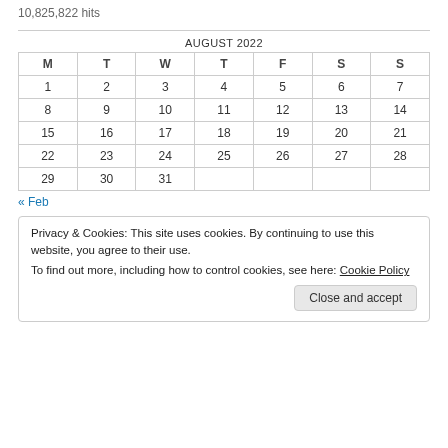10,825,822 hits
| M | T | W | T | F | S | S |
| --- | --- | --- | --- | --- | --- | --- |
| 1 | 2 | 3 | 4 | 5 | 6 | 7 |
| 8 | 9 | 10 | 11 | 12 | 13 | 14 |
| 15 | 16 | 17 | 18 | 19 | 20 | 21 |
| 22 | 23 | 24 | 25 | 26 | 27 | 28 |
| 29 | 30 | 31 |  |  |  |  |
« Feb
Privacy & Cookies: This site uses cookies. By continuing to use this website, you agree to their use.
To find out more, including how to control cookies, see here: Cookie Policy
Close and accept